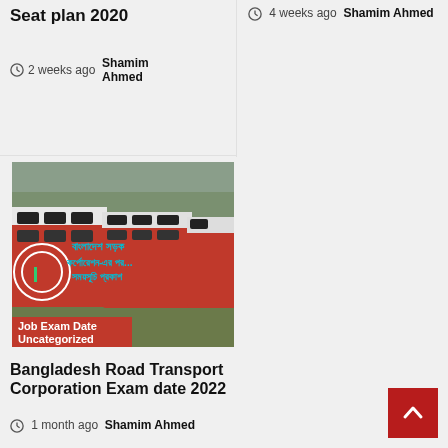Seat plan 2020
2 weeks ago Shamim Ahmed
4 weeks ago Shamim Ahmed
[Figure (photo): Photo of Bangladesh Road Transport Corporation buses parked, with Bangla text overlay and red Job Exam Date / Uncategorized badges]
Bangladesh Road Transport Corporation Exam date 2022
1 month ago Shamim Ahmed